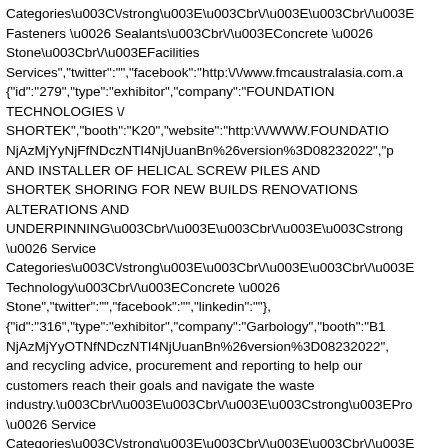Categories\u003C\/strong\u003E\u003Cbr\/\u003E\u003Cbr\/\u003E Fasteners \u0026 Sealants\u003Cbr\/\u003EConcrete \u0026 Stone\u003Cbr\/\u003EFacilities Services","twitter":"","facebook":"http:\/\/www.fmcaustralasia.com.a {"id":"279","type":"exhibitor","company":"FOUNDATION TECHNOLOGIES \/ SHORTEK","booth":"K20","website":"http:\/\/WWW.FOUNDATIO NjAzMjYyNjFfNDczNTI4NjUuanBn%26version%3D08232022","p AND INSTALLER OF HELICAL SCREW PILES AND SHORTEK SHORING FOR NEW BUILDS RENOVATIONS ALTERATIONS AND UNDERPINNING\u003Cbr\/\u003E\u003Cbr\/\u003E\u003Cstrong \u0026 Service Categories\u003C\/strong\u003E\u003Cbr\/\u003E\u003Cbr\/\u003E Technology\u003Cbr\/\u003EConcrete \u0026 Stone","twitter":"","facebook":"","linkedin":""}, {"id":"316","type":"exhibitor","company":"Garbology","booth":"B1 NjAzMjYyOTNfNDczNTI4NjUuanBn%26version%3D08232022"," and recycling advice, procurement and reporting to help our customers reach their goals and navigate the waste industry.\u003Cbr\/\u003E\u003Cbr\/\u003E\u003Cstrong\u003EPro \u0026 Service Categories\u003C\/strong\u003E\u003Cbr\/\u003E\u003Cbr\/\u003E Management\u003Cbr\/\u003EFacilities Services\u003Cbr\/\u003ECleaning \u0026